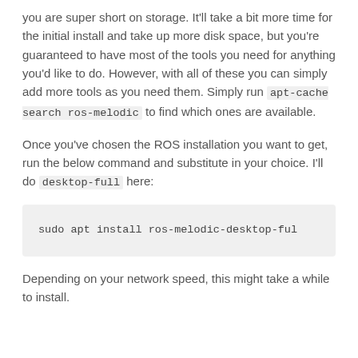you are super short on storage. It'll take a bit more time for the initial install and take up more disk space, but you're guaranteed to have most of the tools you need for anything you'd like to do. However, with all of these you can simply add more tools as you need them. Simply run apt-cache search ros-melodic to find which ones are available.
Once you've chosen the ROS installation you want to get, run the below command and substitute in your choice. I'll do desktop-full here:
sudo apt install ros-melodic-desktop-full
Depending on your network speed, this might take a while to install.